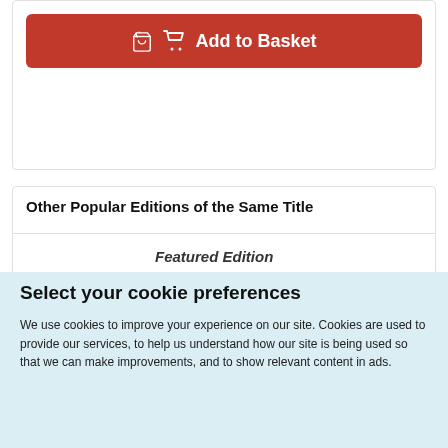Add to Basket
Other Popular Editions of the Same Title
Featured Edition
Select your cookie preferences
We use cookies to improve your experience on our site. Cookies are used to provide our services, to help us understand how our site is being used so that we can make improvements, and to show relevant content in ads.
Accept Cookies
Customise Cookies